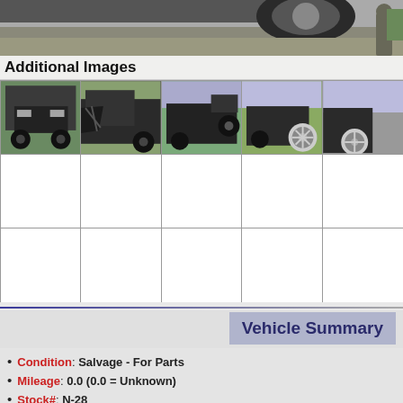[Figure (photo): Top portion of a vehicle image showing a tire/wheel on pavement with a person visible at right edge]
Additional Images
[Figure (photo): Grid of vehicle photos showing a black SUV/truck from multiple angles: front view, front-quarter damaged, side rear view, rear with spare tire, and partial fifth view. Bottom two rows are empty white cells.]
Vehicle Summary
Condition: Salvage - For Parts
Mileage: 0.0 (0.0 = Unknown)
Stock#: N-28